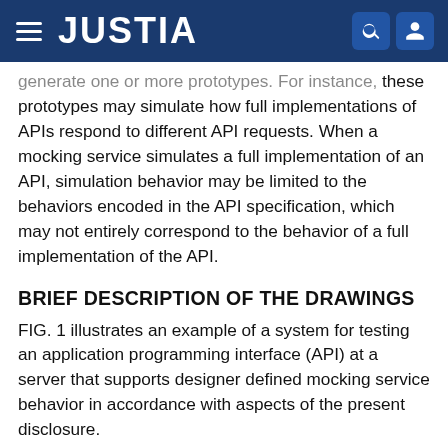JUSTIA
generate one or more prototypes. For instance, these prototypes may simulate how full implementations of APIs respond to different API requests. When a mocking service simulates a full implementation of an API, simulation behavior may be limited to the behaviors encoded in the API specification, which may not entirely correspond to the behavior of a full implementation of the API.
BRIEF DESCRIPTION OF THE DRAWINGS
FIG. 1 illustrates an example of a system for testing an application programming interface (API) at a server that supports designer defined mocking service behavior in accordance with aspects of the present disclosure.
FIG. 2 illustrates an example of a system that supports designer defined mocking service behavior in